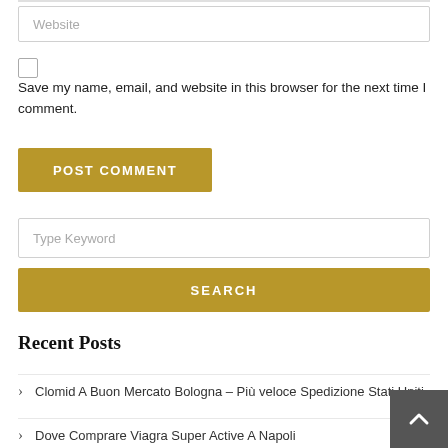Website
Save my name, email, and website in this browser for the next time I comment.
POST COMMENT
Type Keyword
SEARCH
Recent Posts
Clomid A Buon Mercato Bologna – Più veloce Spedizione Stati Uniti
Dove Comprare Viagra Super Active A Napoli